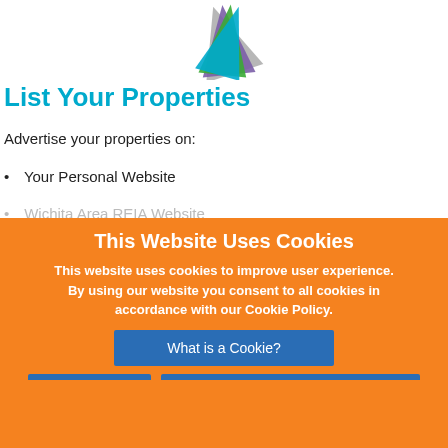[Figure (logo): Decorative fanned card/arrow logo shapes in gray, purple, and green at top center]
List Your Properties
Advertise your properties on:
Your Personal Website
Wichita Area REIA Website
www.realestateinfo.com
This Website Uses Cookies
This website uses cookies to improve user experience. By using our website you consent to all cookies in accordance with our Cookie Policy.
What is a Cookie?
Ok, I got it!
View Cookies and Privacy Policy